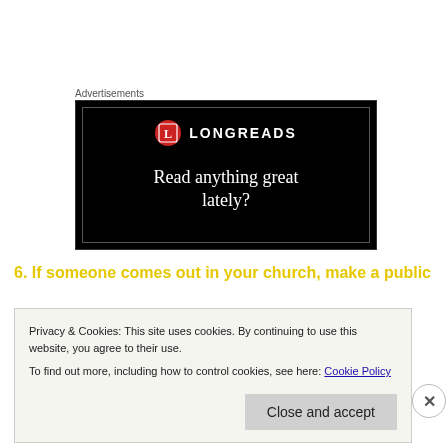Advertisements
[Figure (illustration): Longreads advertisement on black background with red circle logo and text 'Read anything great lately?']
6. If someone comes out in your church, make a public
Privacy & Cookies: This site uses cookies. By continuing to use this website, you agree to their use.
To find out more, including how to control cookies, see here: Cookie Policy
Close and accept